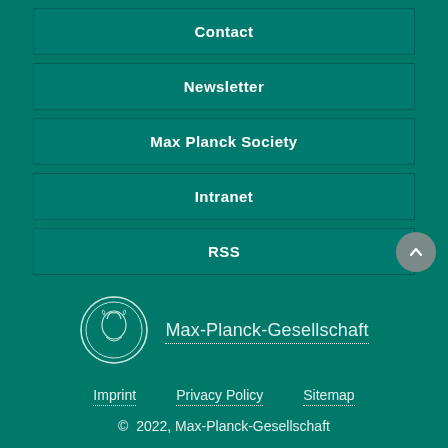Contact
Newsletter
Max Planck Society
Intranet
RSS
[Figure (logo): Max-Planck-Gesellschaft circular medallion logo with profile of Minerva]
Max-Planck-Gesellschaft
Imprint   Privacy Policy   Sitemap
© 2022, Max-Planck-Gesellschaft